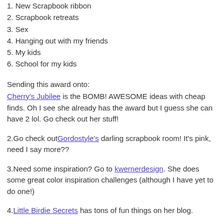1. New Scrapbook ribbon
2. Scrapbook retreats
3. Sex
4. Hanging out with my friends
5. My kids
6. School for my kids
Sending this award onto:
1.Cherry's Jubilee is the BOMB! AWESOME ideas with cheap finds. Oh I see she already has the award but I guess she can have 2 lol. Go check out her stuff!
2.Go check outGordostyle's darling scrapbook room! It's pink, need I say more??
3.Need some inspiration? Go to kwernerdesign. She does some great color inspiration challenges (although I have yet to do one!)
4.Little Birdie Secrets has tons of fun things on her blog.
5.I wish I could be as awesome as Thrifty Decor Chic. She